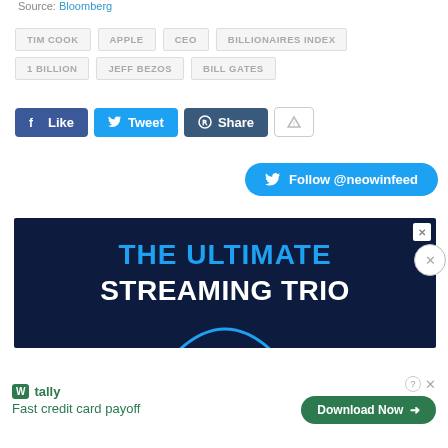Source: Bloomberg
TIM COOK
APPLE
CEO
BILLIONAIRES INDEX
1 BILLION
JEFF BEZOS
BILL GATES
[Figure (screenshot): Social sharing buttons: Facebook Like, Twitter Tweet, Reddit Share, and an alert/flag button]
[Figure (screenshot): Twitter Follow @neowinfeed button]
[Figure (screenshot): Advertisement banner with dark navy background showing 'THE ULTIMATE STREAMING TRIO' in bold blue and white text with a partial arc graphic]
[Figure (screenshot): Tally app advertisement: 'Fast credit card payoff' with Download Now button]